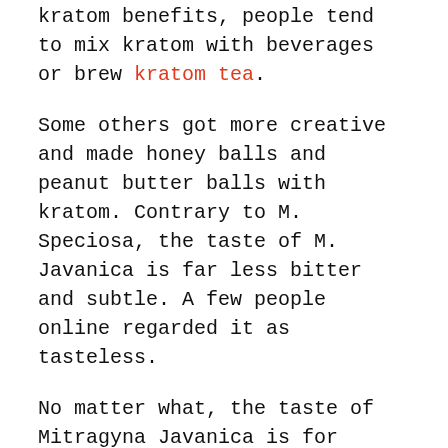kratom benefits, people tend to mix kratom with beverages or brew kratom tea.
Some others got more creative and made honey balls and peanut butter balls with kratom. Contrary to M. Speciosa, the taste of M. Javanica is far less bitter and subtle. A few people online regarded it as tasteless.
No matter what, the taste of Mitragyna Javanica is for those who don't like the bitter taste of ketum; instead, they want the same effects with a more palatable herb!
Fun fact
Mitragyna Javanica is rarer than kratom. The